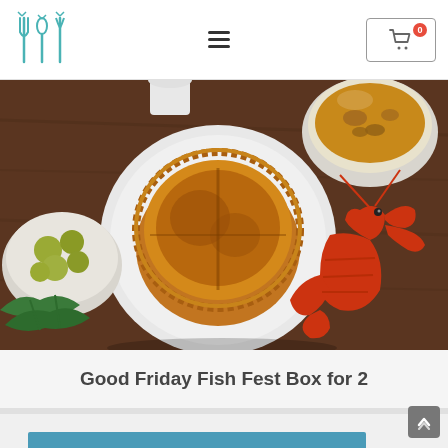Navigation header with logo, hamburger menu, and cart button (0 items)
[Figure (photo): Overhead food photography showing a golden-brown fish pie on a white plate, flanked by a bowl of new potatoes with herbs and green vegetables on the left, a bowl of mushroom broth on the upper right, and a whole cooked lobster on the right, all on a dark wooden table.]
Good Friday Fish Fest Box for 2
[Figure (other): Blue/teal decorative bar at the bottom of the page]